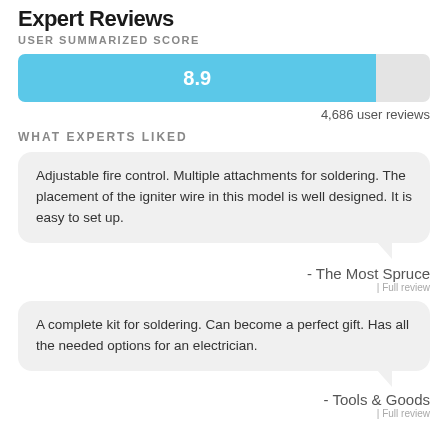Expert Reviews
USER SUMMARIZED SCORE
[Figure (other): Horizontal score bar showing 8.9 out of 10, filled 87% in blue, remainder grey]
4,686 user reviews
WHAT EXPERTS LIKED
Adjustable fire control. Multiple attachments for soldering. The placement of the igniter wire in this model is well designed. It is easy to set up.
- The Most Spruce
| Full review
A complete kit for soldering. Can become a perfect gift. Has all the needed options for an electrician.
- Tools & Goods
| Full review